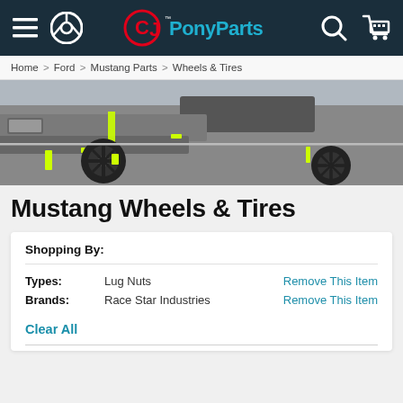CJ Pony Parts navigation bar
Home > Ford > Mustang Parts > Wheels & Tires
[Figure (photo): Grey Ford Mustang with black wheels and neon yellow accents, front/side view close-up]
Mustang Wheels & Tires
Shopping By:
|  |  |  |
| --- | --- | --- |
| Types: | Lug Nuts | Remove This Item |
| Brands: | Race Star Industries | Remove This Item |
Clear All